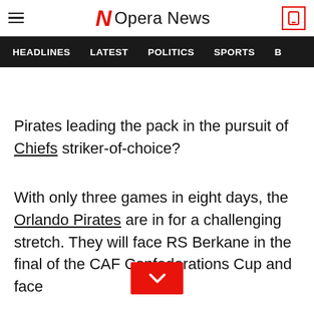Opera News
HEADLINES  LATEST  POLITICS  SPORTS
Pirates leading the pack in the pursuit of Chiefs striker-of-choice?
With only three games in eight days, the Orlando Pirates are in for a challenging stretch. They will face RS Berkane in the final of the CAF Confederations Cup and face